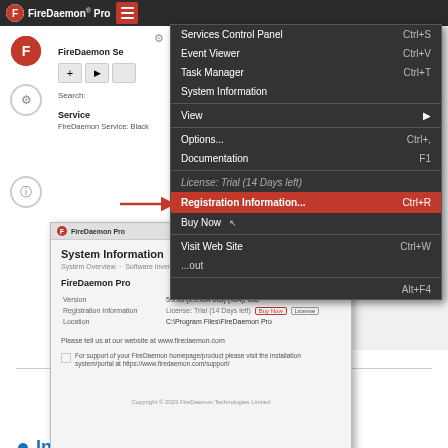[Figure (screenshot): FireDaemon Pro application screenshot showing the hamburger menu dropdown with options including Services Control Panel (Ctrl+S), Event Viewer (Ctrl+V), Task Manager (Ctrl+T), System Information, View, Options (Ctrl+,), Documentation (F1), License: Trial (14 Days left), Registration Information... (Ctrl+R) highlighted in red, Buy Now, Visit Web Site (Ctrl+W), About, and Exit (Alt+F4). A red arrow points to Registration Information. A second overlapping screenshot shows the System Information dialog.]
View all Topics
View End User Guide
Introduction